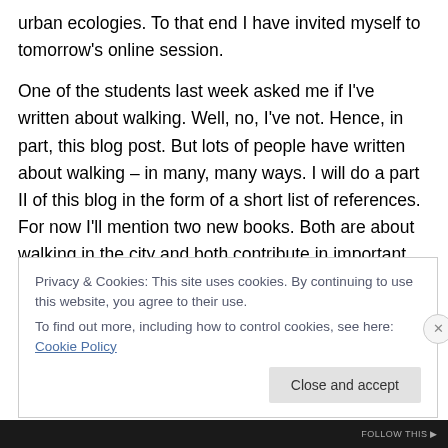urban ecologies. To that end I have invited myself to tomorrow's online session.
One of the students last week asked me if I've written about walking. Well, no, I've not. Hence, in part, this blog post. But lots of people have written about walking – in many, many ways. I will do a part II of this blog in the form of a short list of references. For now I'll mention two new books. Both are about walking in the city and both contribute in important ways to filling out new, better, non-trivial narratives.
Privacy & Cookies: This site uses cookies. By continuing to use this website, you agree to their use.
To find out more, including how to control cookies, see here: Cookie Policy
FOLLOW THIS ▶